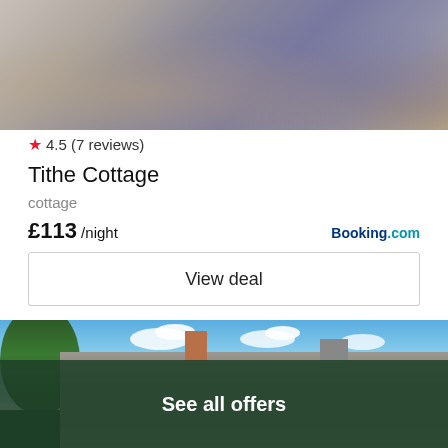[Figure (photo): Blurry interior photo of a living room with grey sofa and wooden floor]
★ 4.5 (7 reviews)
Tithe Cottage
cottage
£113 /night
Booking.com
View deal
[Figure (photo): Exterior photo of a cottage rooftop with chimneys, grey slate roof, trees and blue sky with clouds]
See all offers